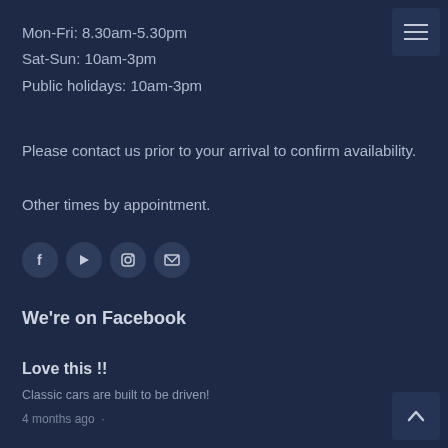Mon-Fri: 8.30am-5.30pm
Sat-Sun: 10am-3pm
Public holidays: 10am-3pm
Please contact us prior to your arrival to confirm availability.
Other times by appointment.
[Figure (infographic): Four circular social media icon buttons: Facebook (f), YouTube (play), Instagram (camera), Email (envelope)]
We're on Facebook
Love this !!
Classic cars are built to be driven!
4 months ago ·